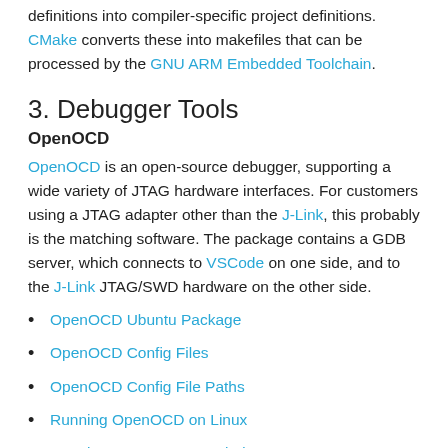definitions into compiler-specific project definitions. CMake converts these into makefiles that can be processed by the GNU ARM Embedded Toolchain.
3. Debugger Tools
OpenOCD
OpenOCD is an open-source debugger, supporting a wide variety of JTAG hardware interfaces. For customers using a JTAG adapter other than the J-Link, this probably is the matching software. The package contains a GDB server, which connects to VSCode on one side, and to the J-Link JTAG/SWD hardware on the other side.
OpenOCD Ubuntu Package
OpenOCD Config Files
OpenOCD Config File Paths
Running OpenOCD on Linux
Running OpenOCD on Windows